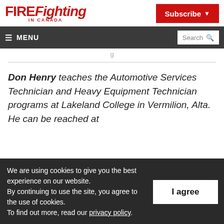FIREFighting IN CANADA
Subscribe
≡ MENU  Search
Don Henry teaches the Automotive Services Technician and Heavy Equipment Technician programs at Lakeland College in Vermilion, Alta. He can be reached at
We are using cookies to give you the best experience on our website. By continuing to use the site, you agree to the use of cookies. To find out more, read our privacy policy.